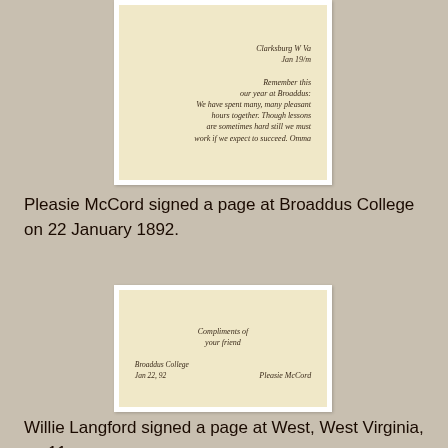[Figure (photo): Photograph of a handwritten page, showing cursive script text beginning with 'Clarksburg W Va, Jan 19/192' and continuing with text about 'Remember this our year at Broaddus. We have spent many, many pleasant hours together. Though lessons are sometimes hard still we must work if we expect to succeed. Omma']
Pleasie McCord signed a page at Broaddus College on 22 January 1892.
[Figure (photo): Photograph of a handwritten autograph album page reading 'Compliments of your friend, Broaddus College, Jan 22, 92, Pleasie McCord']
Willie Langford signed a page at West, West Virginia, on 11